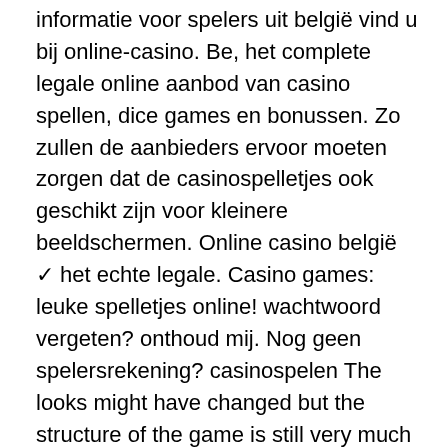informatie voor spelers uit belgië vind u bij online-casino. Be, het complete legale online aanbod van casino spellen, dice games en bonussen. Zo zullen de aanbieders ervoor moeten zorgen dat de casinospelletjes ook geschikt zijn voor kleinere beeldschermen. Online casino belgië ✓ het echte legale. Casino games: leuke spelletjes online! wachtwoord vergeten? onthoud mij. Nog geen spelersrekening? casinospelen The looks might have changed but the structure of the game is still very much the same. A typical slot will have a number of reels and rows where the symbols spin and land, as well as the spin button and bet per spin configurations. Slot games all come with the traditional reel and symbol layout and this is where you can pick up the smaller prizes, however, it's the special features that brings uniqueness to each game. Popular features include free spins, enhanced multipliors from wild and scatter symbols